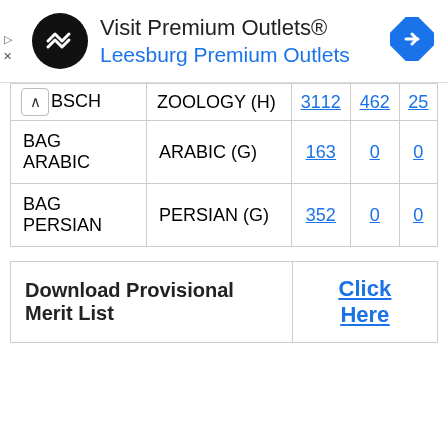[Figure (other): Advertisement banner for Visit Premium Outlets® - Leesburg Premium Outlets with logo and navigation icon]
| Code | Subject | Col1 | Col2 | Col3 |
| --- | --- | --- | --- | --- |
| BSCH ARABIC | ARABIC (G) | 163 | 0 | 0 |
| BAG PERSIAN | PERSIAN (G) | 352 | 0 | 0 |
| Download Provisional Merit List | Click Here |
| --- | --- |